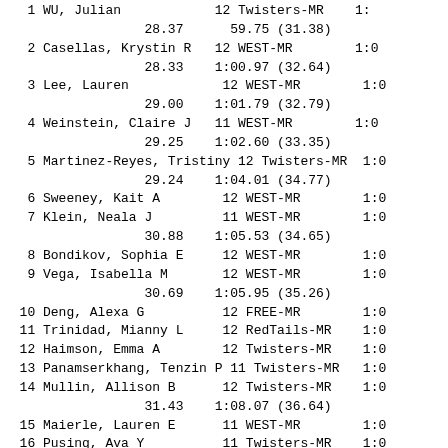| Place | Name | Age | Team | Time |
| --- | --- | --- | --- | --- |
| 1 | WU, Julian | 12 | Twisters-MR | 1:... |
|  | 28.37 |  | 59.75 (31.38) |  |
| 2 | Casellas, Krystin R | 12 | WEST-MR | 1:0... |
|  | 28.33 |  | 1:00.97 (32.64) |  |
| 3 | Lee, Lauren | 12 | WEST-MR | 1:0... |
|  | 29.00 |  | 1:01.79 (32.79) |  |
| 4 | Weinstein, Claire J | 11 | WEST-MR | 1:0... |
|  | 29.25 |  | 1:02.60 (33.35) |  |
| 5 | Martinez-Reyes, Tristiny | 12 | Twisters-MR | 1:0... |
|  | 29.24 |  | 1:04.01 (34.77) |  |
| 6 | Sweeney, Kait A | 12 | WEST-MR | 1:0... |
| 7 | Klein, Neala J | 11 | WEST-MR | 1:0... |
|  | 30.88 |  | 1:05.53 (34.65) |  |
| 8 | Bondikov, Sophia E | 12 | WEST-MR | 1:0... |
| 9 | Vega, Isabella M | 12 | WEST-MR | 1:0... |
|  | 30.69 |  | 1:05.95 (35.26) |  |
| 10 | Deng, Alexa G | 12 | FREE-MR | 1:0... |
| 11 | Trinidad, Mianny L | 12 | RedTails-MR | 1:0... |
| 12 | Haimson, Emma A | 12 | Twisters-MR | 1:0... |
| 13 | Panamserkhang, Tenzin P | 11 | Twisters-MR | 1:0... |
| 14 | Mullin, Allison B | 12 | Twisters-MR | 1:0... |
|  | 31.43 |  | 1:08.07 (36.64) |  |
| 15 | Maierle, Lauren E | 11 | WEST-MR | 1:0... |
| 16 | Pusing, Ava Y | 11 | Twisters-MR | 1:0... |
|  | 32.44 |  | 1:08.60 (36.16) |  |
| 17 | Corcuera, Carolina D | 12 | Twisters-MR | 1:1... |
|  | 33.55 |  | 1:11.00 (37.45) |  |
| 18 | Kang, Joy | 11 | WEST-MR | 1:1... |
|  | 33.59 |  | 1:11.23 (37.64) |  |
| 19 | Torres, Cassidy A | 12 | Twisters-MR | 1:1... |